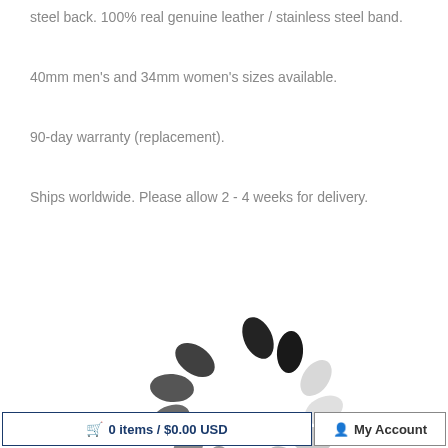steel back. 100% real genuine leather / stainless steel band.
40mm men's and 34mm women's sizes available.
90-day warranty (replacement).
Ships worldwide. Please allow 2 - 4 weeks for delivery.
[Figure (other): Loading spinner animation graphic — rotating oval dots in a circular arrangement, transitioning from dark gray/black at the top to light gray at the sides and bottom.]
🛒 0 items / $0.00 USD   👤 My Account